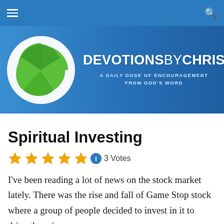Navigation bar with menu and search icons
[Figure (logo): Devotions By Chris website banner with green cross/pinwheel logo on left and blue background with text 'DEVOTIONS BY CHRIS - A DAILY DOSE OF ENCOURAGEMENT FROM GOD'S WORD' on right]
Spiritual Investing
★★★★★ ℹ 3 Votes
I've been reading a lot of news on the stock market lately. There was the rise and fall of Game Stop stock where a group of people decided to invest in it to drive the price up